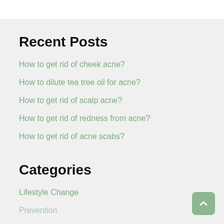Recent Posts
How to get rid of cheek acne?
How to dilute tea tree oil for acne?
How to get rid of scalp acne?
How to get rid of redness from acne?
How to get rid of acne scabs?
Categories
Lifestyle Change
Prevention